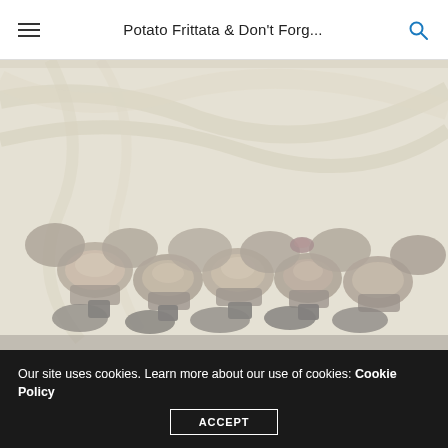Potato Frittata & Don't Forg...
[Figure (photo): Close-up photo of roasted potato chunks in a pan with egg frittata, slightly faded/washed out appearance. The pan shows cooked potatoes with browned edges and some darker caramelized bits, set against a swirling egg mixture background.]
Our site uses cookies. Learn more about our use of cookies: Cookie Policy
ACCEPT